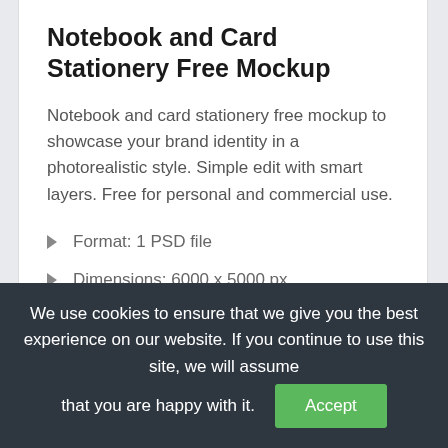Notebook and Card Stationery Free Mockup
Notebook and card stationery free mockup to showcase your brand identity in a photorealistic style. Simple edit with smart layers. Free for personal and commercial use.
Format: 1 PSD file
Dimensions: 6000 x 5000 px
Size: 111 Mb
We use cookies to ensure that we give you the best experience on our website. If you continue to use this site, we will assume that you are happy with it.